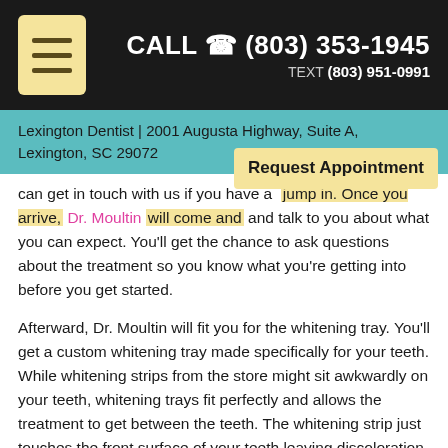CALL (803) 353-1945 TEXT (803) 951-0991
Lexington Dentist | 2001 Augusta Highway, Suite A, Lexington, SC 29072
can get in touch with us if you have any questions. Once you arrive, Dr. Moultin will come and talk to you about what you can expect. You'll get the chance to ask questions about the treatment so you know what you're getting into before you get started.
Afterward, Dr. Moultin will fit you for the whitening tray. You'll get a custom whitening tray made specifically for your teeth. While whitening strips from the store might sit awkwardly on your teeth, whitening trays fit perfectly and allows the treatment to get between the teeth. The whitening strip just touches the front surface of your teeth leaving discoloration between your teeth.
Dr. Moultin will give you specific instructions on how to use your whitening tray. According to directions, you'll slide the tray